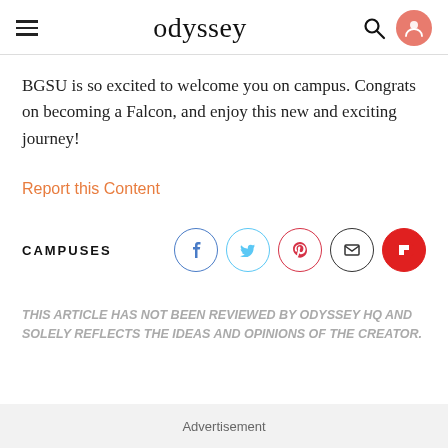odyssey
BGSU is so excited to welcome you on campus. Congrats on becoming a Falcon, and enjoy this new and exciting journey!
Report this Content
CAMPUSES
THIS ARTICLE HAS NOT BEEN REVIEWED BY ODYSSEY HQ AND SOLELY REFLECTS THE IDEAS AND OPINIONS OF THE CREATOR.
Advertisement